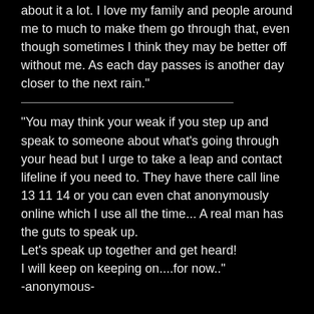about it a lot. I love my family and people around me to much to make them go through that, even though sometimes I think they may be better off without me. As each day passes is another day closer to the next rain."
"You may think your weak if you step up and speak to someone about what's going through your head but I urge to take a leap and contact lifeline if you need to. They have there call line 13 11 14 or you can even chat anonymously online which I use all the time... A real man has the guts to speak up. Let's speak up together and get heard! I will keep on keeping on....for now.." -anonymous-